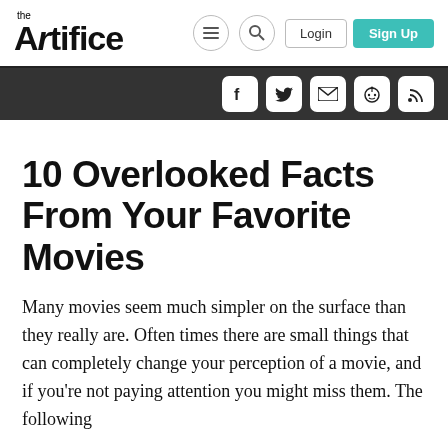the Artifice — Login | Sign Up
10 Overlooked Facts From Your Favorite Movies
Many movies seem much simpler on the surface than they really are. Often times there are small things that can completely change your perception of a movie, and if you're not paying attention you might miss them. The following